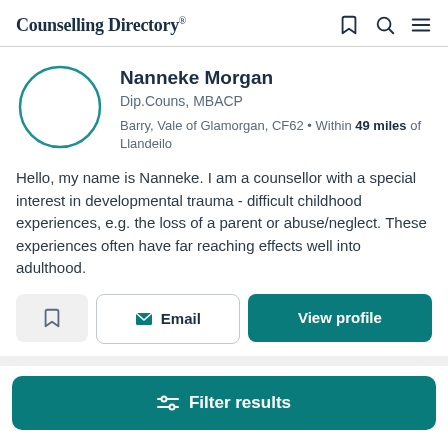Counselling Directory
[Figure (illustration): Circular teal-outlined avatar placeholder for Nanneke Morgan]
Nanneke Morgan
Dip.Couns, MBACP
Barry, Vale of Glamorgan, CF62 • Within 49 miles of Llandeilo
Hello, my name is Nanneke. I am a counsellor with a special interest in developmental trauma - difficult childhood experiences, e.g. the loss of a parent or abuse/neglect. These experiences often have far reaching effects well into adulthood.
Email
View profile
Filter results